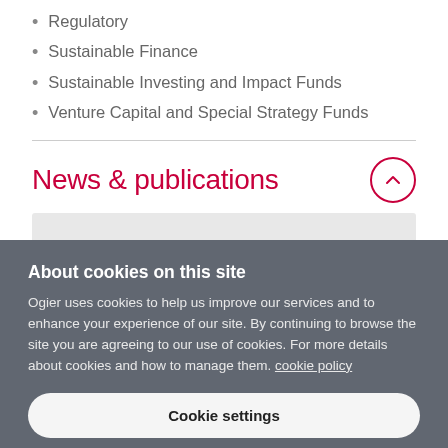Regulatory
Sustainable Finance
Sustainable Investing and Impact Funds
Venture Capital and Special Strategy Funds
News & publications
About cookies on this site
Ogier uses cookies to help us improve our services and to enhance your experience of our site. By continuing to browse the site you are agreeing to our use of cookies. For more details about cookies and how to manage them. cookie policy
Cookie settings
ALLOW ALL COOKIES